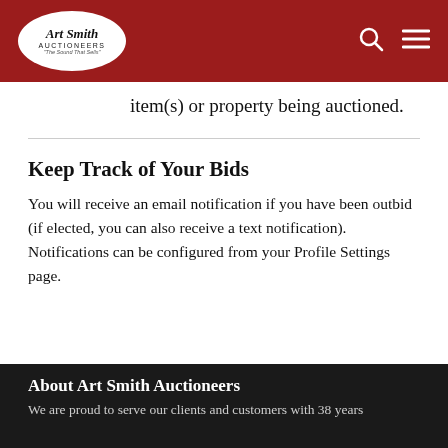Art Smith Auctioneers — The Sound That Sells
item(s) or property being auctioned.
Keep Track of Your Bids
You will receive an email notification if you have been outbid (if elected, you can also receive a text notification). Notifications can be configured from your Profile Settings page.
About Art Smith Auctioneers
We are proud to serve our clients and customers with 38 years